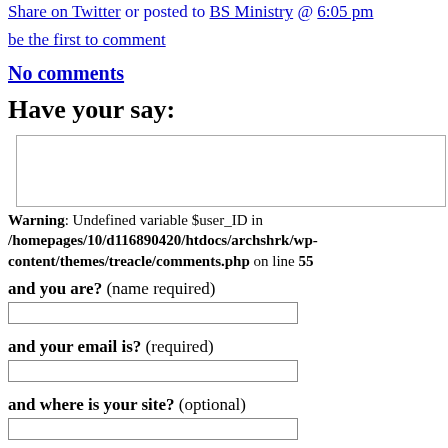Share on Twitter or posted to BS Ministry @ 6:05 pm
be the first to comment
No comments
Have your say:
Warning: Undefined variable $user_ID in /homepages/10/d116890420/htdocs/archshrk/wp-content/themes/treacle/comments.php on line 55
and you are? (name required)
and your email is? (required)
and where is your site? (optional)